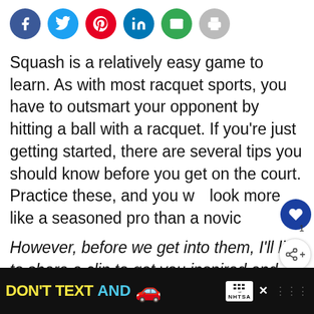[Figure (infographic): Row of social sharing icon buttons: Facebook (blue), Twitter (blue), Pinterest (red), LinkedIn (blue), Email (green), Print (grey)]
Squash is a relatively easy game to learn. As with most racquet sports, you have to outsmart your opponent by hitting a ball with a racquet. If you're just getting started, there are several tips you should know before you get on the court. Practice these, and you will look more like a seasoned pro than a novice.
However, before we get into them, I'll like to share a clip to get you inspired and motivated.
[Figure (infographic): What's Next widget showing a soccer image with text 'WHAT'S NEXT → Soccer Tryouts: 15...']
[Figure (infographic): Advertisement banner: DON'T TEXT AND [car emoji] with NHTSA ad badge and close button]